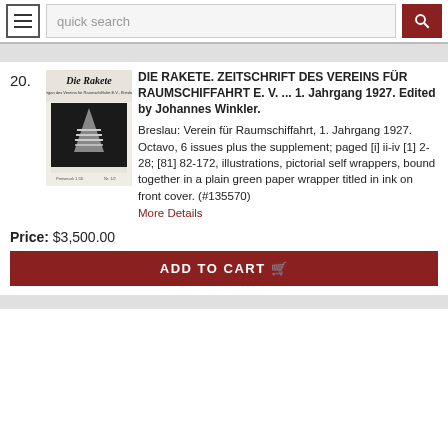quick search
20.
[Figure (photo): Cover of Die Rakete journal showing title in blackletter font and a stylized rocket/spaceship illustration against a dark background]
DIE RAKETE. ZEITSCHRIFT DES VEREINS FÜR RAUMSCHIFFAHRT E. V. ... 1. Jahrgang 1927. Edited by Johannes Winkler.
Breslau: Verein für Raumschiffahrt, 1. Jahrgang 1927. Octavo, 6 issues plus the supplement; paged [i] ii-iv [1] 2-28; [81] 82-172, illustrations, pictorial self wrappers, bound together in a plain green paper wrapper titled in ink on front cover. (#135570)
More Details
Price: $3,500.00
ADD TO CART